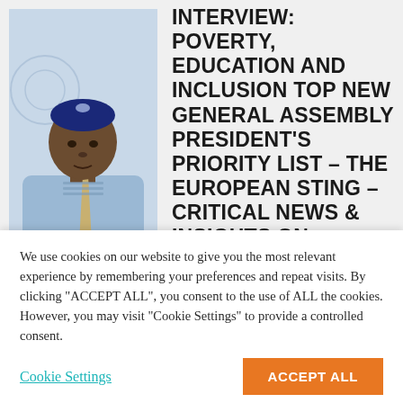[Figure (photo): Portrait photo of a man wearing a traditional Nigerian blue embroidered outfit and cap, with a UN flag in the background]
INTERVIEW: POVERTY, EDUCATION AND INCLUSION TOP NEW GENERAL ASSEMBLY PRESIDENT'S PRIORITY LIST – THE EUROPEAN STING – CRITICAL NEWS & INSIGHTS ON EUROPEAN POLITICS, ECONOMY, FOREIGN AFFAIRS, BUSINESS & TECHNOLOGY
We use cookies on our website to give you the most relevant experience by remembering your preferences and repeat visits. By clicking "ACCEPT ALL", you consent to the use of ALL the cookies. However, you may visit "Cookie Settings" to provide a controlled consent.
Cookie Settings
ACCEPT ALL